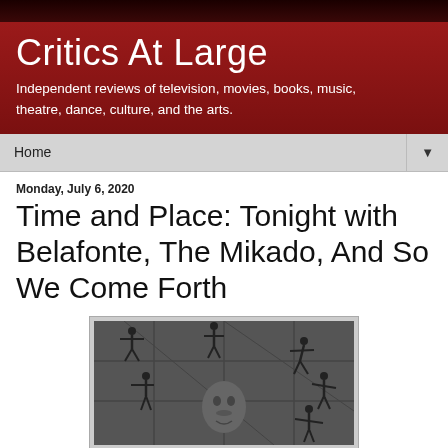Critics At Large
Independent reviews of television, movies, books, music, theatre, dance, culture, and the arts.
Home
Monday, July 6, 2020
Time and Place: Tonight with Belafonte, The Mikado, And So We Come Forth
[Figure (photo): Black and white photo showing silhouetted figures on scaffolding or geometric structure, with a man's face visible in the lower center portion of the image.]